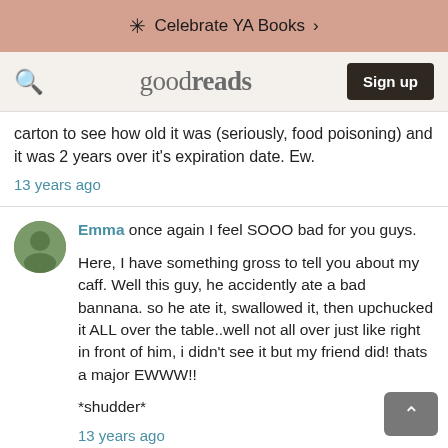Celebrate YA Books >
goodreads  Sign up
carton to see how old it was (seriously, food poisoning) and it was 2 years over it's expiration date. Ew.
13 years ago
Emma once again I feel SOOO bad for you guys.

Here, I have something gross to tell you about my caff. Well this guy, he accidently ate a bad bannana. so he ate it, swallowed it, then upchucked it ALL over the table..well not all over just like right in front of him, i didn't see it but my friend did! thats a major EWWW!!

*shudder*
13 years ago
Sierra lol We get Barro's pizza on wednesdays. At my junior high anyways. T-T God, i hate it so much, I should be in a HIGH SCHOOL! DX